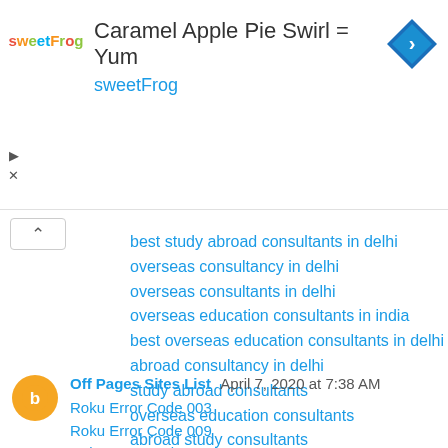[Figure (infographic): sweetFrog advertisement banner with logo, title 'Caramel Apple Pie Swirl = Yum', subtitle 'sweetFrog', and a blue diamond navigation arrow icon]
best study abroad consultants in delhi
overseas consultancy in delhi
overseas consultants in delhi
overseas education consultants in india
best overseas education consultants in delhi
abroad consultancy in delhi
study abroad consultants
overseas education consultants
abroad study consultants
study abroad consultant
Reply
Off Pages Sites List  April 7, 2020 at 7:38 AM
Roku Error Code 003
Roku Error Code 009
Roku Error Code 005